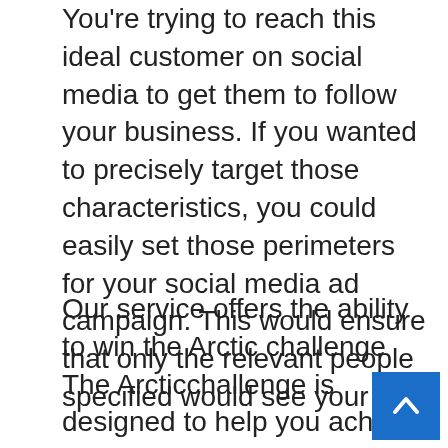You're trying to reach this ideal customer on social media to get them to follow your business. If you wanted to precisely target those characteristics, you could easily set those perimeters for your social media ad campaign. This would ensure that only the relevant people specified would see your ad.
Our service offers the ability to win the Arctic challenge The Arcticchallenge is designed to help you achieve your goals. The challenge is that it takes time and is not related to school or work. That's why we offer the ability to win the Arcticchallenge, which provides you with a physical and digital challenge to help you focus on your goals. The